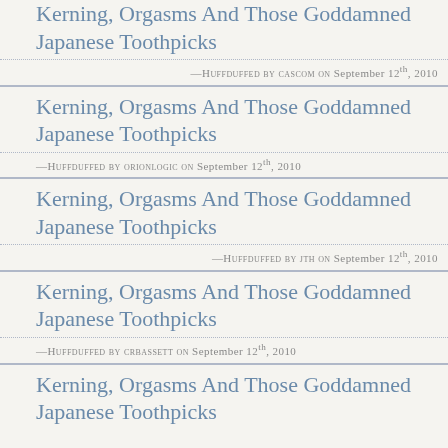Kerning, Orgasms And Those Goddamned Japanese Toothpicks
—Huffduffed by cascom on September 12th, 2010
Kerning, Orgasms And Those Goddamned Japanese Toothpicks
—Huffduffed by orionlogic on September 12th, 2010
Kerning, Orgasms And Those Goddamned Japanese Toothpicks
—Huffduffed by jth on September 12th, 2010
Kerning, Orgasms And Those Goddamned Japanese Toothpicks
—Huffduffed by crbassett on September 12th, 2010
Kerning, Orgasms And Those Goddamned Japanese Toothpicks